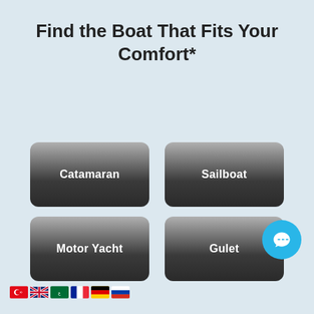Find the Boat That Fits Your Comfort*
Catamaran
Sailboat
Motor Yacht
Gulet
[Figure (illustration): Chat bubble icon in a blue circle (live chat widget)]
[Figure (illustration): Row of country flags: Turkey, UK, Saudi Arabia, France, Germany, Russia]